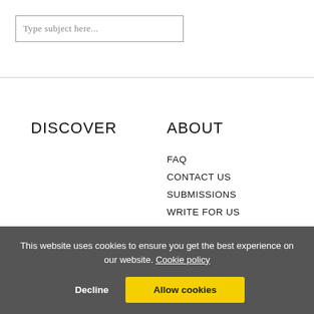Type subject here...
DISCOVER
ABOUT
FAQ
CONTACT US
SUBMISSIONS
WRITE FOR US
SUBSCRIBE
STAFF
EMPLOYMENT
REVIEWS
ARTICLES
FILM
NEWS
This website uses cookies to ensure you get the best experience on our website. Cookie policy
Decline
Allow cookies